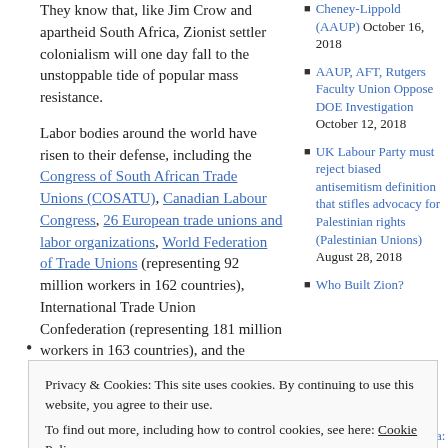They know that, like Jim Crow and apartheid South Africa, Zionist settler colonialism will one day fall to the unstoppable tide of popular mass resistance.
Labor bodies around the world have risen to their defense, including the Congress of South African Trade Unions (COSATU), Canadian Labour Congress, 26 European trade unions and labor organizations, World Federation of Trade Unions (representing 92 million workers in 162 countries), International Trade Union Confederation (representing 181 million workers in 163 countries), and the
Cheney-Lippold (AAUP) October 16, 2018
AAUP, AFT, Rutgers Faculty Union Oppose DOE Investigation October 12, 2018
UK Labour Party must reject biased antisemitism definition that stifles advocacy for Palestinian rights (Palestinian Unions) August 28, 2018
Who Built Zion?
Privacy & Cookies: This site uses cookies. By continuing to use this website, you agree to their use.
To find out more, including how to control cookies, see here: Cookie Policy
Close and accept
international labor respect of the Boycott,
to ask to remain from Gaza: Sovereignty